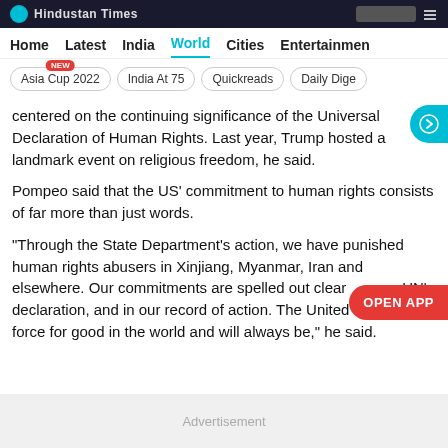Hindustan Times - Home Latest India World Cities Entertainment
Asia Cup 2022 [NEW] | India At 75 | Quickreads | Daily Digest
centered on the continuing significance of the Universal Declaration of Human Rights. Last year, Trump hosted a landmark event on religious freedom, he said.
Pompeo said that the US' commitment to human rights consists of far more than just words.
“Through the State Department’s action, we have punished human rights abusers in Xinjiang, Myanmar, Iran and elsewhere. Our commitments are spelled out clearly in the UN’s declaration, and in our record of action. The United States is a force for good in the world and will always be,” he said.
[Figure (screenshot): Advertisement banner at bottom of page]